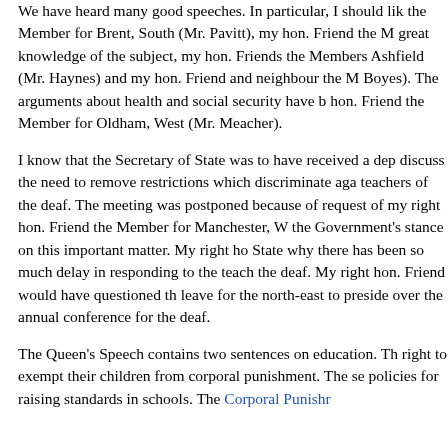We have heard many good speeches. In particular, I should like the Member for Brent, South (Mr. Pavitt), my hon. Friend the M... great knowledge of the subject, my hon. Friends the Members... Ashfield (Mr. Haynes) and my hon. Friend and neighbour the M... Boyes). The arguments about health and social security have b... hon. Friend the Member for Oldham, West (Mr. Meacher).
I know that the Secretary of State was to have received a depu... discuss the need to remove restrictions which discriminate aga... teachers of the deaf. The meeting was postponed because of t... request of my right hon. Friend the Member for Manchester, W... the Government's stance on this important matter. My right ho... State why there has been so much delay in responding to the ... teach the deaf. My right hon. Friend would have questioned th... leave for the north-east to preside over the annual conference for the deaf.
The Queen's Speech contains two sentences on education. Th... right to exempt their children from corporal punishment. The se... policies for raising standards in schools. The Corporal Punishr...